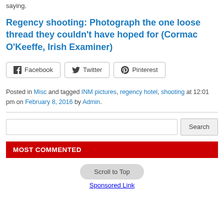saying.
Regency shooting: Photograph the one loose thread they couldn't have hoped for (Cormac O'Keeffe, Irish Examiner)
[Figure (other): Social share buttons for Facebook, Twitter, and Pinterest]
Posted in Misc and tagged INM pictures, regency hotel, shooting at 12:01 pm on February 8, 2016 by Admin.
Search input field with Search button
MOST COMMENTED
Scroll to Top
Sponsored Link